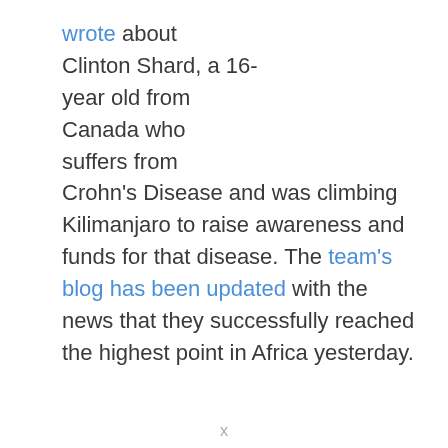wrote about Clinton Shard, a 16-year old from Canada who suffers from Crohn's Disease and was climbing Kilimanjaro to raise awareness and funds for that disease. The team's blog has been updated with the news that they successfully reached the highest point in Africa yesterday.
x